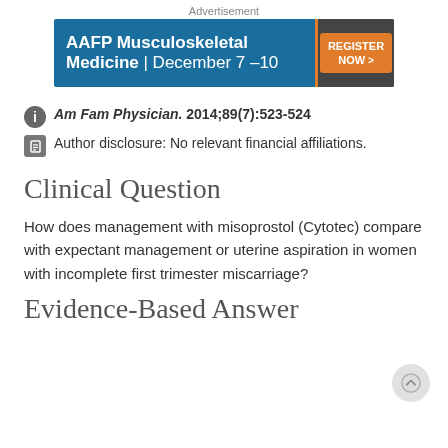Advertisement
[Figure (other): AAFP Musculoskeletal Medicine | December 7–10 advertisement banner with Register Now button]
Am Fam Physician. 2014;89(7):523-524
Author disclosure: No relevant financial affiliations.
Clinical Question
How does management with misoprostol (Cytotec) compare with expectant management or uterine aspiration in women with incomplete first trimester miscarriage?
Evidence-Based Answer